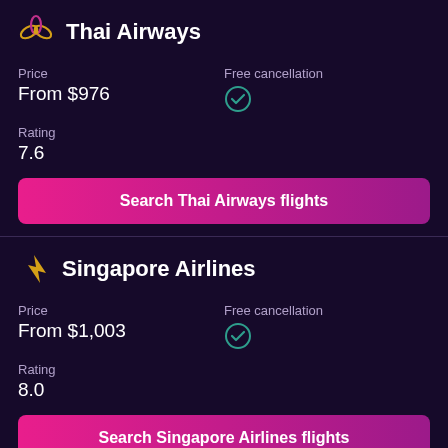Thai Airways
Price
From $976
Free cancellation ✓
Rating
7.6
Search Thai Airways flights
Singapore Airlines
Price
From $1,003
Free cancellation ✓
Rating
8.0
Search Singapore Airlines flights